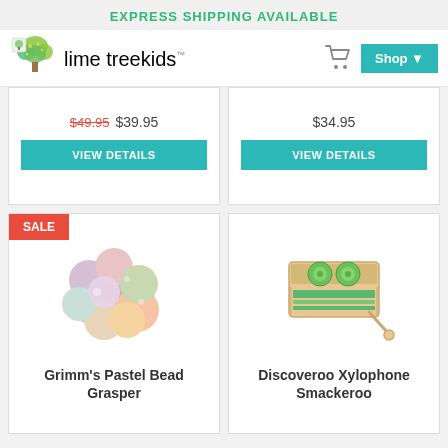EXPRESS SHIPPING AVAILABLE
[Figure (logo): Lime Tree Kids logo with tree graphic and stylized text]
$49.95 $39.95
VIEW DETAILS
$34.95
VIEW DETAILS
SALE
[Figure (photo): Grimm's Pastel Bead Grasper - colorful pastel beads clustered together]
Grimm's Pastel Bead Grasper
[Figure (photo): Discoveroo Xylophone Smackeroo - wooden xylophone toy]
Discoveroo Xylophone Smackeroo